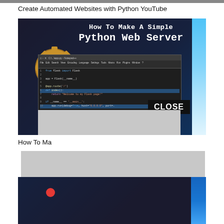[Figure (screenshot): Cropped top edge of a webpage or video thumbnail strip]
Create Automated Websites with Python YouTube
[Figure (screenshot): YouTube thumbnail for 'How To Make A Simple Python Web Server' showing a gear icon on a dark blue background with a code editor window open showing Flask Python code, and a CLOSE button visible, with a grey overlay covering lower part]
How To Ma
[Figure (screenshot): Partially visible second YouTube thumbnail with dark blue background and a red recording dot, obscured by large grey modal overlay]